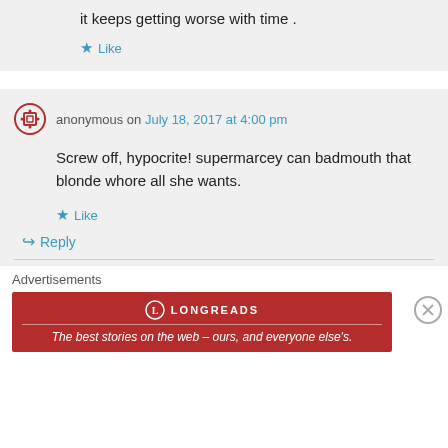it keeps getting worse with time .
Like
anonymous on July 18, 2017 at 4:00 pm
Screw off, hypocrite! supermarcey can badmouth that blonde whore all she wants.
Like
Reply
Advertisements
[Figure (other): Longreads advertisement banner: red background with Longreads logo and text 'The best stories on the web – ours, and everyone else's.']